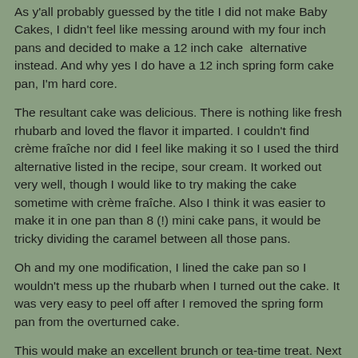As y'all probably guessed by the title I did not make Baby Cakes, I didn't feel like messing around with my four inch pans and decided to make a 12 inch cake  alternative instead. And why yes I do have a 12 inch spring form cake pan, I'm hard core.
The resultant cake was delicious. There is nothing like fresh rhubarb and loved the flavor it imparted. I couldn't find crème fraîche nor did I feel like making it so I used the third alternative listed in the recipe, sour cream. It worked out very well, though I would like to try making the cake sometime with crème fraîche. Also I think it was easier to make it in one pan than 8 (!) mini cake pans, it would be  tricky dividing the caramel between all those pans.
Oh and my one modification, I lined the cake pan so I wouldn't mess up the rhubarb when I turned out the cake. It was very easy to peel off after I removed the spring form pan from the overturned cake.
This would make an excellent brunch or tea-time treat. Next time, and there will be a next time, I might just halve the recipe for a more manageable quantity of cake.